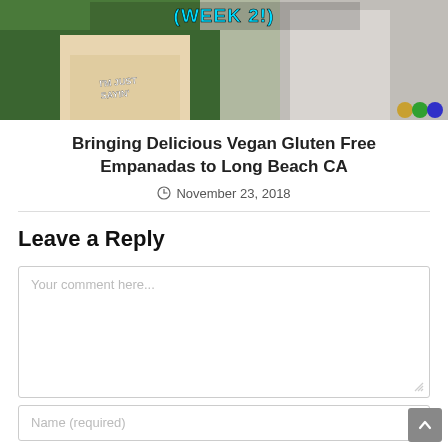[Figure (photo): Blog post thumbnail photo showing a person wearing a 'I'm Just Sayin'' shirt at what appears to be an outdoor event, with text overlay reading '(WEEK 2!)' at the top in cyan, and another person visible in the background.]
Bringing Delicious Vegan Gluten Free Empanadas to Long Beach CA
November 23, 2018
Leave a Reply
Your comment here...
Name (required)